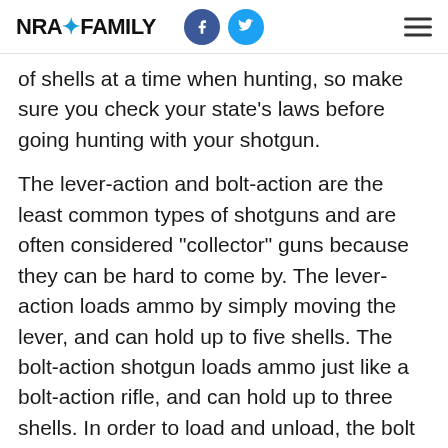NRA Family
of shells at a time when hunting, so make sure you check your state's laws before going hunting with your shotgun.
The lever-action and bolt-action are the least common types of shotguns and are often considered "collector" guns because they can be hard to come by. The lever-action loads ammo by simply moving the lever, and can hold up to five shells. The bolt-action shotgun loads ammo just like a bolt-action rifle, and can hold up to three shells. In order to load and unload, the bolt is used manually by opening and closing the chamber.
Natural shotguns come in many different actions and